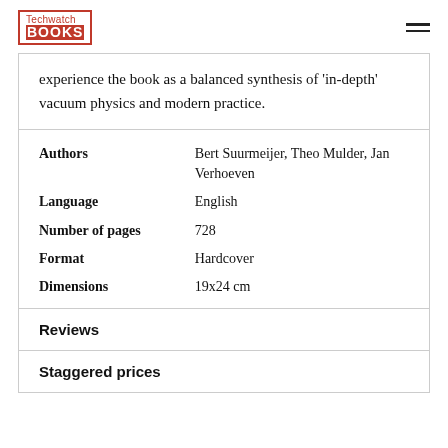Techwatchbooks
experience the book as a balanced synthesis of 'in-depth' vacuum physics and modern practice.
|  |  |
| --- | --- |
| Authors | Bert Suurmeijer, Theo Mulder, Jan Verhoeven |
| Language | English |
| Number of pages | 728 |
| Format | Hardcover |
| Dimensions | 19x24 cm |
Reviews
Staggered prices